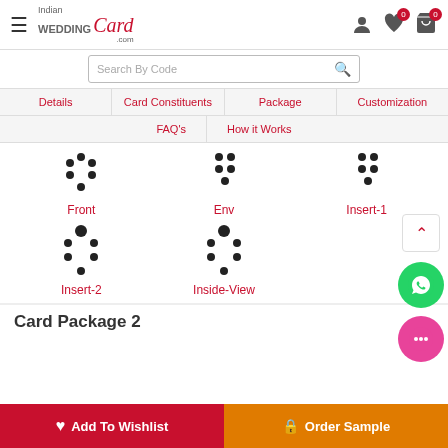IndianWeddingCard.com
Search By Code
Details | Card Constituents | Package | Customization | FAQ's | How it Works
[Figure (infographic): Loading spinner icons for: Front, Env, Insert-1, Insert-2, Inside-View]
Card Package 2
Add To Wishlist
Order Sample